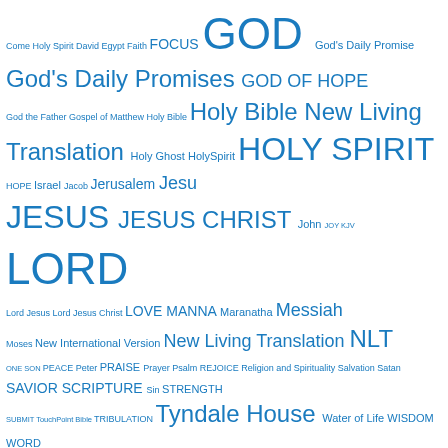[Figure (other): Tag cloud of religious/biblical terms in varying sizes, all in blue. Larger terms include GOD, HOLY SPIRIT, JESUS, JESUS CHRIST, LORD, God's Daily Promises, GOD OF HOPE, Holy Bible New Living Translation, NLT, New Living Translation, Tyndale House. Smaller terms include Come, Holy Spirit, David, Egypt, Faith, FOCUS, God's Daily Promise, God the Father, Gospel of Matthew, Holy Bible, Holy Ghost, HolySpirit, HOPE, Israel, Jacob, Jerusalem, Jesu, John, JOY, KJV, Lord Jesus, Lord Jesus Christ, LOVE, MANNA, Maranatha, Messiah, Moses, New International Version, ONE, SON, PEACE, Peter, PRAISE, Prayer, Psalm, REJOICE, Religion and Spirituality, Salvation, Satan, SAVIOR, SCRIPTURE, Sin, STRENGTH, SUBMIT, TouchPoint Bible, TRIBULATION, Water of Life, WISDOM, WORD.]